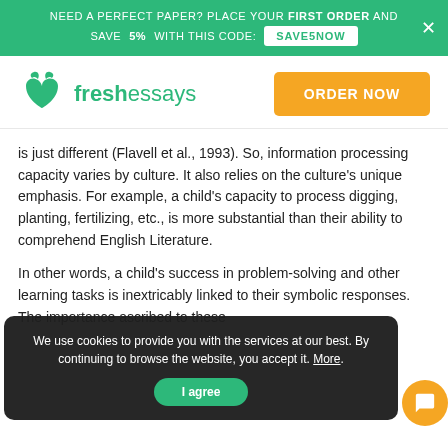NEED A PERFECT PAPER? PLACE YOUR FIRST ORDER AND SAVE 5% WITH THIS CODE: SAVE5NOW
[Figure (logo): FreshEssays logo with green open book icon and text 'freshessays']
is just different (Flavell et al., 1993). So, information processing capacity varies by culture. It also relies on the culture's unique emphasis. For example, a child's capacity to process digging, planting, fertilizing, etc., is more substantial than their ability to comprehend English Literature.
In other words, a child's success in problem-solving and other learning tasks is inextricably linked to their symbolic responses. The importance ascribed to these
We use cookies to provide you with the services at our best. By continuing to browse the website, you accept it. More. I agree